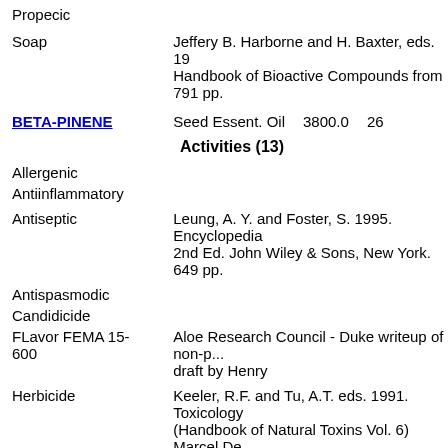Propecic
Soap	Jeffery B. Harborne and H. Baxter, eds. 19... Handbook of Bioactive Compounds from... 791 pp.
BETA-PINENE	Seed Essent. Oil	3800.0	26...
Activities (13)
Allergenic
Antiinflammatory
Antiseptic	Leung, A. Y. and Foster, S. 1995. Encyclopedia... 2nd Ed. John Wiley & Sons, New York. 649 pp.
Antispasmodic
Candidicide
FLavor FEMA 15-600	Aloe Research Council - Duke writeup of non-p... draft by Henry
Herbicide	Keeler, R.F. and Tu, A.T. eds. 1991. Toxicology... (Handbook of Natural Toxins Vol. 6) Marcel De...
Insectifuge	Jacobson, M., Glossary of Plant-Derived Insect... Boca Raton, FL, 213 p, 1990.
Irritant	Zebovitz, T. C. Ed. 1989. Part VII. Flavor and F... H. and Walters, D.B., eds. Compendium of Safe... Industrial Chemicals. VCH Publishers, New Yo...
Perfumery	Aloe Research Council - Duke writeup of non-p...